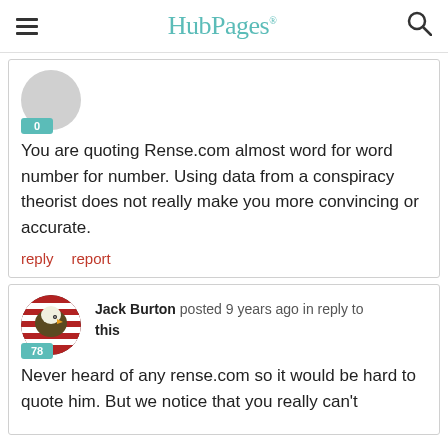HubPages
You are quoting Rense.com almost word for word number for number. Using data from a conspiracy theorist does not really make you more convincing or accurate.
reply   report
Jack Burton posted 9 years ago in reply to this
Never heard of any rense.com so it would be hard to quote him. But we notice that you really can't